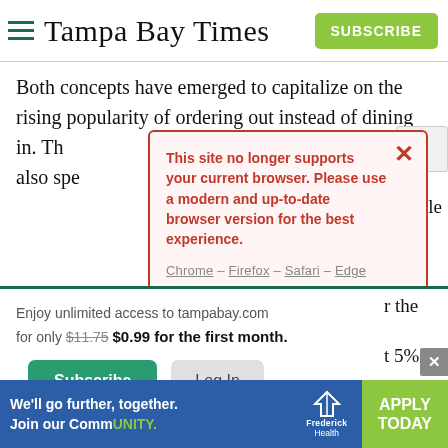Tampa Bay Times — SUBSCRIBE
Both concepts have emerged to capitalize on the rising popularity of ordering out instead of dining in. Th… also spe… …le …r the …t 5% …r.
This site no longer supports your current browser. Please use a modern and up-to-date browser version for the best experience.
Chrome – Firefox – Safari – Edge
Enjoy unlimited access to tampabay.com for only $11.75 $0.99 for the first month.
Subscribe   Log In
Interested in print delivery? Subscribe here →
[Figure (screenshot): Bottom advertisement banner for Frederick Health: 'We'll go further, together. Join our CommUNITY.' with APPLY TODAY button]